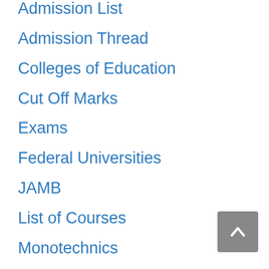Admission List
Admission Thread
Colleges of Education
Cut Off Marks
Exams
Federal Universities
JAMB
List of Courses
Monotechnics
MubeeCenter
Offers
Opinion
Polytechnics
Post UTME